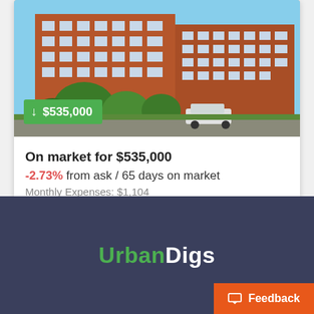[Figure (photo): Exterior photo of a multi-story red brick apartment building with green trees in front and a white car parked on the street]
On market for $535,000
-2.73% from ask / 65 days on market
Monthly Expenses: $1,104
1 bed - 1 bath / 900 ft²
[Figure (logo): UrbanDigs logo — 'Urban' in green and 'Digs' in white on dark navy background]
Feedback